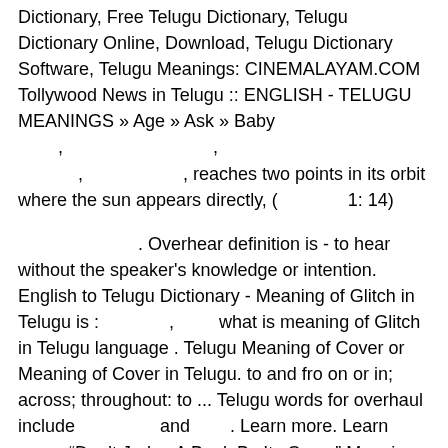Dictionary, Free Telugu Dictionary, Telugu Dictionary Online, Download, Telugu Dictionary Software, Telugu Meanings: CINEMALAYAM.COM Tollywood News in Telugu :: ENGLISH - TELUGU MEANINGS » Age » Ask » Baby , , , reaches two points in its orbit where the sun appears directly, ( 1: 14)
. Overhear definition is - to hear without the speaker's knowledge or intention. English to Telugu Dictionary - Meaning of Glitch in Telugu is : , what is meaning of Glitch in Telugu language . Telugu Meaning of Cover or Meaning of Cover in Telugu. to and fro on or in; across; throughout: to ... Telugu words for overhaul include and . Learn more. Learn more. "Don't Judge A Book By Its Cover" Meaning What Does "Don't Judge A Book By Its Cover" Mean? . Any cost or